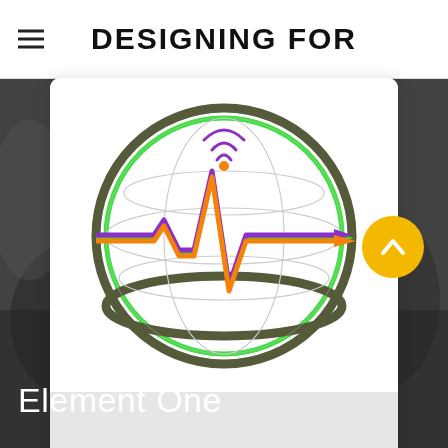DESIGNING FOR
[Figure (logo): Globe logo with an EKG/heartbeat waveform line in green, purple, and orange passing through it, with a wireless signal icon at top, on a white card background]
Element One